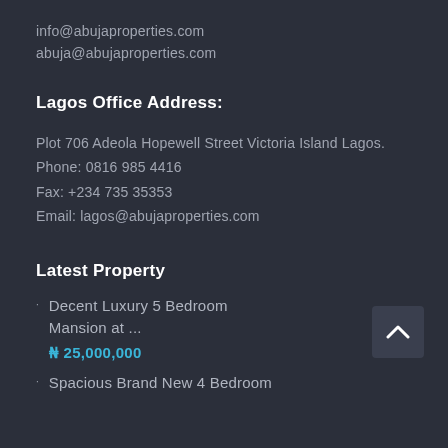info@abujaproperties.com
abuja@abujaproperties.com
Lagos Office Address:
Plot 706 Adeola Hopewell Street Victoria Island Lagos.
Phone: 0816 985 4416
Fax: +234 735 35353
Email: lagos@abujaproperties.com
Latest Property
Decent Luxury 5 Bedroom Mansion at ...
₦ 25,000,000
Spacious Brand New 4 Bedroom